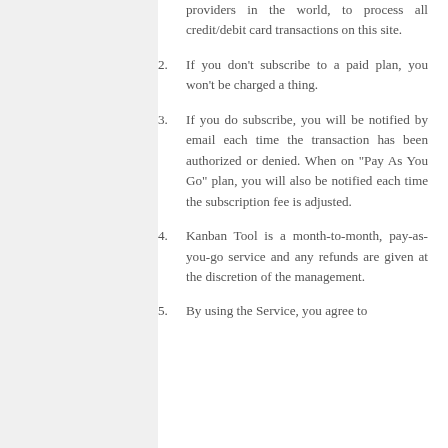providers in the world, to process all credit/debit card transactions on this site.
2. If you don't subscribe to a paid plan, you won't be charged a thing.
3. If you do subscribe, you will be notified by email each time the transaction has been authorized or denied. When on "Pay As You Go" plan, you will also be notified each time the subscription fee is adjusted.
4. Kanban Tool is a month-to-month, pay-as-you-go service and any refunds are given at the discretion of the management.
5. By using the Service, you agree to